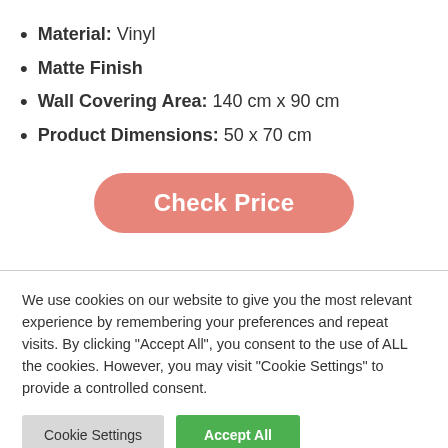Material: Vinyl
Matte Finish
Wall Covering Area: 140 cm x 90 cm
Product Dimensions: 50 x 70 cm
[Figure (other): Check Price button — rounded pill-shaped button with salmon/pink background and white bold text]
We use cookies on our website to give you the most relevant experience by remembering your preferences and repeat visits. By clicking "Accept All", you consent to the use of ALL the cookies. However, you may visit "Cookie Settings" to provide a controlled consent.
Cookie Settings | Accept All